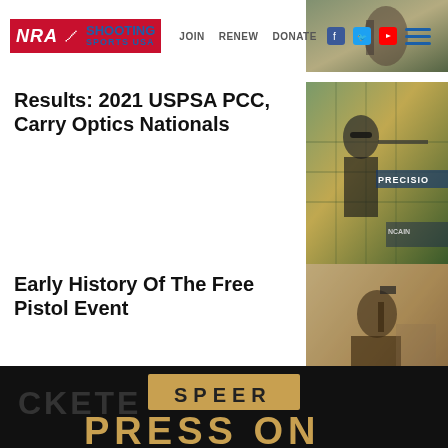NRA Shooting Sports USA | JOIN RENEW DONATE
[Figure (photo): Sports shooting photo top right header image]
Results: 2021 USPSA PCC, Carry Optics Nationals
[Figure (photo): Female shooter at USPSA Nationals, competing with handgun at precision shooting range]
Early History Of The Free Pistol Event
[Figure (photo): Sepia-toned vintage photo of a man with a pistol at a shooting event]
[Figure (photo): Speer advertisement banner - PRESS ON]